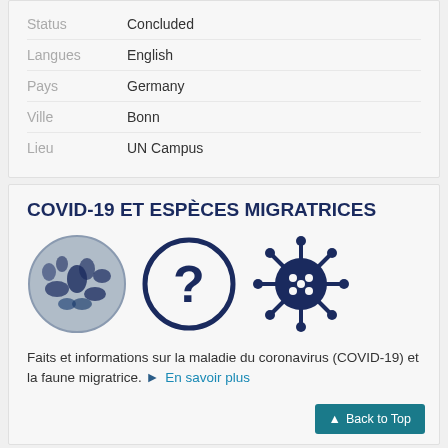| Label | Value |
| --- | --- |
| Status | Concluded |
| Langues | English |
| Pays | Germany |
| Ville | Bonn |
| Lieu | UN Campus |
COVID-19 ET ESPÈCES MIGRATRICES
[Figure (illustration): Three icons: a circular collage of migratory wildlife silhouettes, a circle with a question mark, and a coronavirus particle icon, all in dark navy blue.]
Faits et informations sur la maladie du coronavirus (COVID-19) et la faune migratrice. ➤ En savoir plus